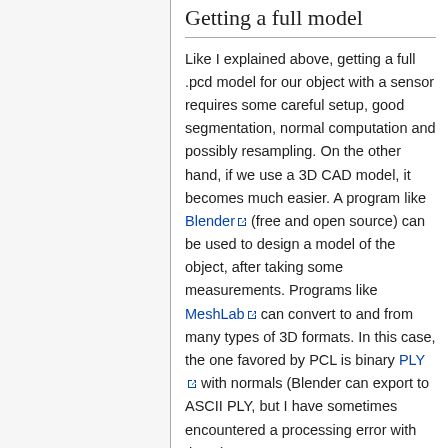Getting a full model
Like I explained above, getting a full .pcd model for our object with a sensor requires some careful setup, good segmentation, normal computation and possibly resampling. On the other hand, if we use a 3D CAD model, it becomes much easier. A program like Blender (free and open source) can be used to design a model of the object, after taking some measurements. Programs like MeshLab can convert to and from many types of 3D formats. In this case, the one favored by PCL is binary PLY with normals (Blender can export to ASCII PLY, but I have sometimes encountered a processing error with those).
Raytracing